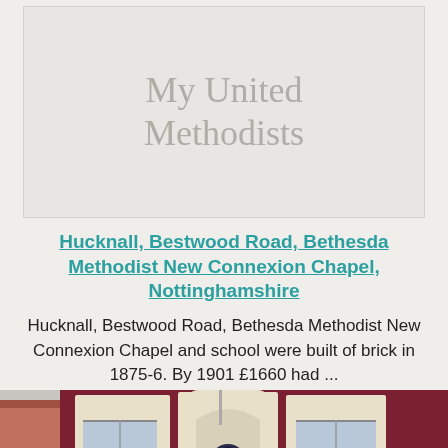[Figure (illustration): Light grey box with watermark text reading 'My United Methodists']
Hucknall, Bestwood Road, Bethesda Methodist New Connexion Chapel, Nottinghamshire
Hucknall, Bestwood Road, Bethesda Methodist New Connexion Chapel and school were built of brick in 1875-6. By 1901 £1660 had ...
[Figure (photo): Photograph of Bethesda Methodist New Connexion Chapel building exterior — dark red/maroon walls with cream/white arched doorway and window surrounds, a circular emblem above the entrance doors]